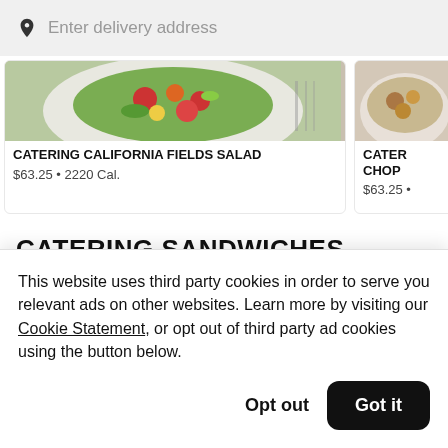Enter delivery address
[Figure (photo): Photo of catering California fields salad on a plate with colorful vegetables]
CATERING CALIFORNIA FIELDS SALAD
$63.25 • 2220 Cal.
[Figure (photo): Partial photo of catering chopped salad]
CATERING CHOP...
$63.25 •
CATERING SANDWICHES
This website uses third party cookies in order to serve you relevant ads on other websites. Learn more by visiting our Cookie Statement, or opt out of third party ad cookies using the button below.
Opt out
Got it